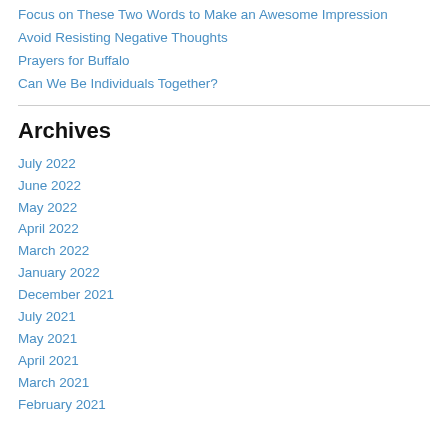Focus on These Two Words to Make an Awesome Impression
Avoid Resisting Negative Thoughts
Prayers for Buffalo
Can We Be Individuals Together?
Archives
July 2022
June 2022
May 2022
April 2022
March 2022
January 2022
December 2021
July 2021
May 2021
April 2021
March 2021
February 2021